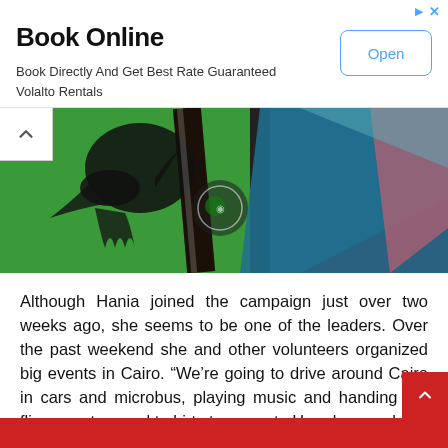[Figure (infographic): Advertisement banner with 'Book Online' title, 'Book Directly And Get Best Rate Guaranteed / Volalto Rentals' subtitle, and an 'Open' button styled with blue border on white background. Top-right shows a blue arrow and X icon.]
[Figure (photo): Close-up photograph of green fabric/clothing with a black eagle graphic, overlapping with another piece of colorful fabric featuring blue and pink tones. A watermark logo is visible in the center.]
Although Hania joined the campaign just over two weeks ago, she seems to be one of the leaders. Over the past weekend she and other volunteers organized big events in Cairo. “We’re going to drive around Cairo in cars and microbus, playing music and handing out fliers, posters and t-shirts to promote Hamdeen and